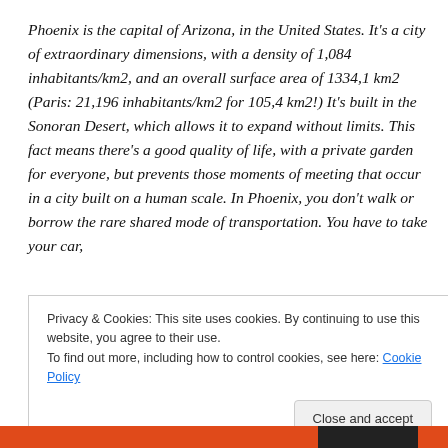Phoenix is the capital of Arizona, in the United States. It's a city of extraordinary dimensions, with a density of 1,084 inhabitants/km2, and an overall surface area of 1334,1 km2 (Paris: 21,196 inhabitants/km2 for 105,4 km2!) It's built in the Sonoran Desert, which allows it to expand without limits. This fact means there's a good quality of life, with a private garden for everyone, but prevents those moments of meeting that occur in a city built on a human scale. In Phoenix, you don't walk or borrow the rare shared mode of transportation. You have to take your car,
Privacy & Cookies: This site uses cookies. By continuing to use this website, you agree to their use.
To find out more, including how to control cookies, see here: Cookie Policy
Close and accept